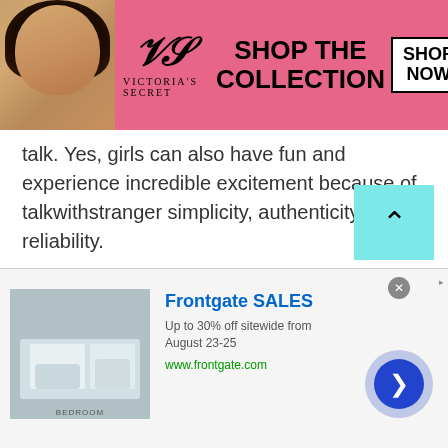[Figure (screenshot): Victoria's Secret advertisement banner with model photo, VS logo, 'SHOP THE COLLECTION' text, and 'SHOP NOW' button]
talk. Yes, girls can also have fun and experience incredible excitement because of talkwithstranger simplicity, authenticity and reliability.

So, if you haven't experienced girls chat at TWS then it's time to join this amazing platform and get ready to avail some incredible perks. All you need to grab your smartphone, open the TWS chat site and have a happy conversation with girls online. So, next time you think talking to strangers in Tajikistan is quite difficult, don't forget to browse the
[Figure (screenshot): Frontgate SALES advertisement banner: Up to 30% off sitewide from August 23-25, www.frontgate.com, with bedroom photo]